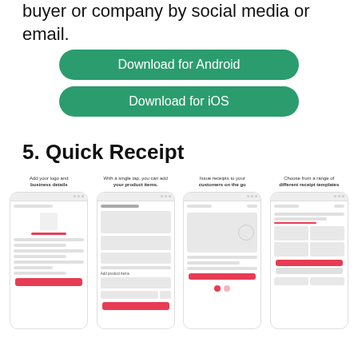buyer or company by social media or email.
[Figure (screenshot): Green 'Download for Android' button]
[Figure (screenshot): Green 'Download for iOS' button]
5. Quick Receipt
[Figure (screenshot): Four mobile app screenshots showing Quick Receipt features: (1) Add your logo and business details, (2) With a single tap, you can add your product items, (3) Issue receipts to your customers on the go, (4) Choose from a range of different receipt templates]